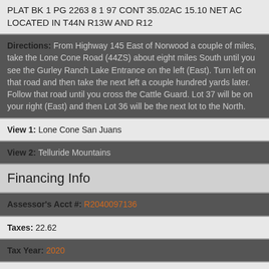PLAT BK 1 PG 2263 8 1 97 CONT 35.02AC 15.10 NET AC LOCATED IN T44N R13W AND R12
Directions: From Highway 145 East of Norwood a couple of miles, take the Lone Cone Road (44ZS) about eight miles South until you see the Gurley Ranch Lake Entrance on the left (East). Turn left on that road and then take the next left a couple hundred yards later. Follow that road until you cross the Cattle Guard. Lot 37 will be on your right (East) and then Lot 36 will be the next lot to the North.
View 1: Lone Cone San Juans
View 2: Telluride Mountains
Financing Info
Assessor's Acct #: R2040097136
Taxes: 22.62
Tax Year: 2020
HOA Mangment Company/Info: Gurley Lake Ranches